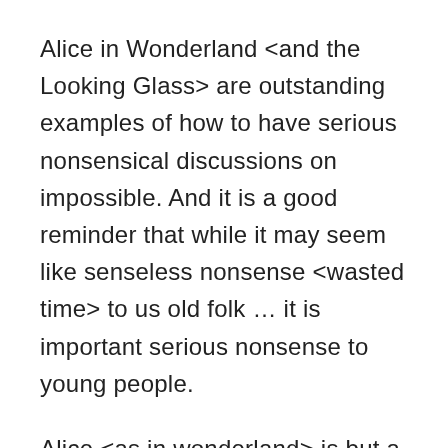Alice in Wonderland <and the Looking Glass> are outstanding examples of how to have serious nonsensical discussions on impossible. And it is a good reminder that while it may seem like senseless nonsense <wasted time> to us old folk … it is important serious nonsense to young people.
Alice <as in wonderland> is but a 7 year old in literature but metaphorically she symbolizes all that the youth has to offer. She questions everything  and all